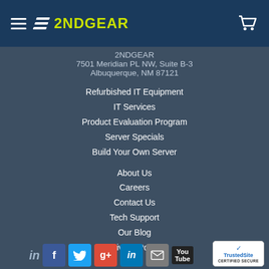2NDGEAR
2NDGEAR
7501 Meridian PL NW, Suite B-3
Albuquerque, NM 87121
Refurbished IT Equipment
IT Services
Product Evaluation Program
Server Specials
Build Your Own Server
About Us
Careers
Contact Us
Tech Support
Our Blog
Privacy Policy
[Figure (logo): Social media icons: LinkedIn, Facebook, Twitter, Google+, LinkedIn, Email, YouTube, plus TrustedSite Certified Secure badge]